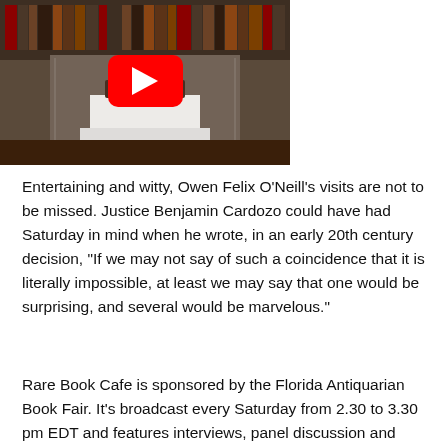[Figure (screenshot): YouTube video thumbnail showing a book or object on a white pedestal in a library setting with bookshelves in the background. A large red YouTube play button is overlaid in the center.]
Entertaining and witty, Owen Felix O'Neill's visits are not to be missed. Justice Benjamin Cardozo could have had Saturday in mind when he wrote, in an early 20th century decision, “If we may not say of such a coincidence that it is literally impossible, at least we may say that one would be surprising, and several would be marvelous.”
Rare Book Cafe is sponsored by the Florida Antiquarian Book Fair. It's broadcast every Saturday from 2.30 to 3.30 pm EDT and features interviews, panel discussion and stuff